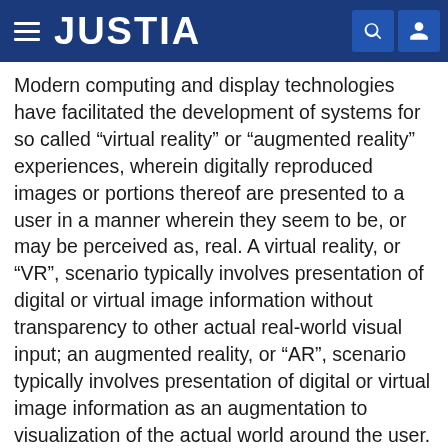JUSTIA
Modern computing and display technologies have facilitated the development of systems for so called “virtual reality” or “augmented reality” experiences, wherein digitally reproduced images or portions thereof are presented to a user in a manner wherein they seem to be, or may be perceived as, real. A virtual reality, or “VR”, scenario typically involves presentation of digital or virtual image information without transparency to other actual real-world visual input; an augmented reality, or “AR”, scenario typically involves presentation of digital or virtual image information as an augmentation to visualization of the actual world around the user. A mixed reality, or “MR”, scenario is a type of AR scenario and typically involves virtual objects that are integrated into, and responsive to, the natural world. For example, in an MR scenario, AR image content may be blocked by or otherwise interact with objects in